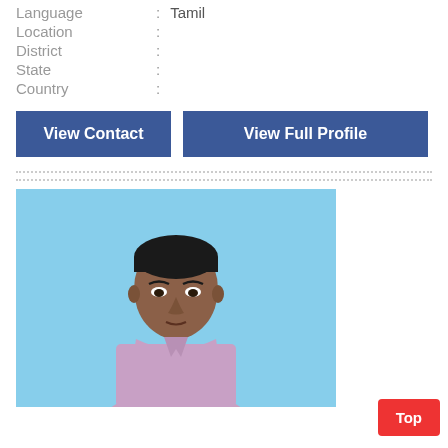Language : Tamil
Location :
District :
State :
Country :
View Contact
View Full Profile
[Figure (photo): Portrait photo of a young man in a light purple/pink collared shirt against a light blue background]